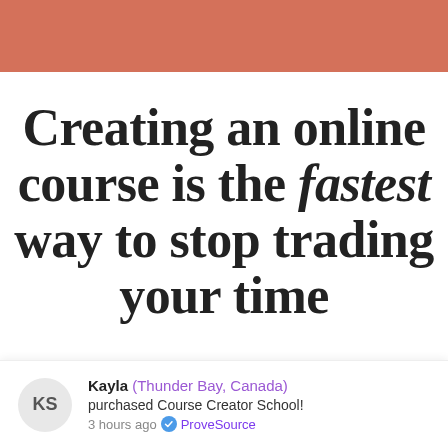[Figure (other): Terracotta/salmon colored decorative header bar]
Creating an online course is the fastest way to stop trading your time
Kayla (Thunder Bay, Canada) purchased Course Creator School! 3 hours ago ✔ ProveSource